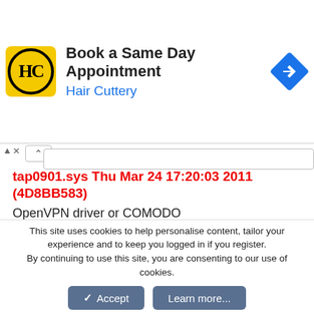[Figure (infographic): Hair Cuttery advertisement banner: yellow rounded square logo with HC initials in black circle, text 'Book a Same Day Appointment' and 'Hair Cuttery' in blue, blue diamond navigation icon on right]
tap0901.sys Thu Mar 24 17:20:03 2011 (4D8BB583)
OpenVPN driver or COMODO
http://www.carrona.org/drivers/driver.php?id=tap0901.sys
ntk_PowerDVD12_64.sys Thu May 12 08:30:24 2011 (4DCBD2E0)
Cyberlink PowerDVD driver. Often OEM installed on
This site uses cookies to help personalise content, tailor your experience and to keep you logged in if you register.
By continuing to use this site, you are consenting to our use of cookies.